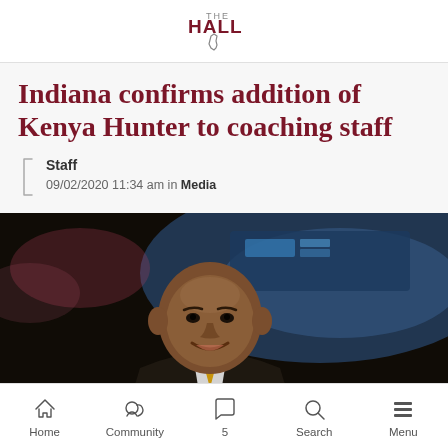THE HALL
Indiana confirms addition of Kenya Hunter to coaching staff
Staff
09/02/2020 11:34 am in Media
[Figure (photo): A man in a dark suit with a gold/yellow tie smiling, photographed at a basketball arena with blurred blue and warm arena lighting in the background.]
Home  Community  5  Search  Menu